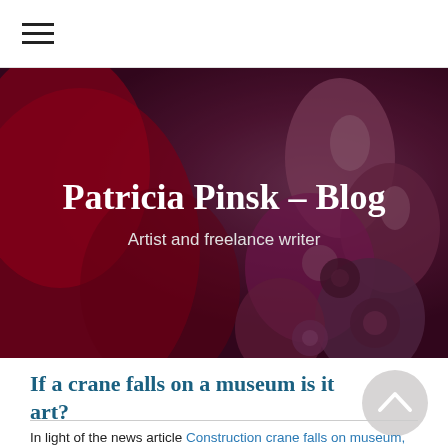≡
[Figure (photo): Hero banner image: abstract close-up of red and dark magenta/purple fibrous organic forms (artwork), with white overlay text reading 'Patricia Pinsk - Blog' and subtitle 'Artist and freelance writer']
Patricia Pinsk – Blog
Artist and freelance writer
If a crane falls on a museum is it art?
In light of the news article Construction crane falls on museum, everyone assumes it's a new sculpture, it made me wonder (yet again) about the meaning of art. I, like many